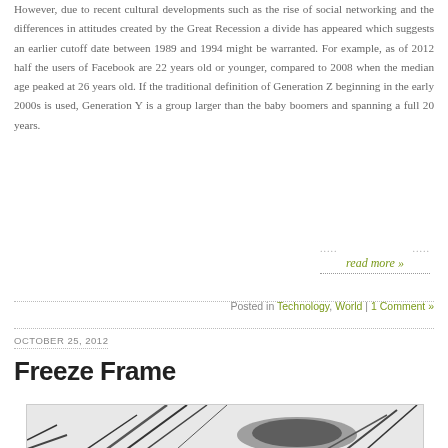However, due to recent cultural developments such as the rise of social networking and the differences in attitudes created by the Great Recession a divide has appeared which suggests an earlier cutoff date between 1989 and 1994 might be warranted. For example, as of 2012 half the users of Facebook are 22 years old or younger, compared to 2008 when the median age peaked at 26 years old. If the traditional definition of Generation Z beginning in the early 2000s is used, Generation Y is a group larger than the baby boomers and spanning a full 20 years.
read more »
Posted in Technology, World | 1 Comment »
OCTOBER 25, 2012
Freeze Frame
[Figure (photo): Partial image visible at the bottom of the page, appears to be a black and white illustration or photo with angular elements]